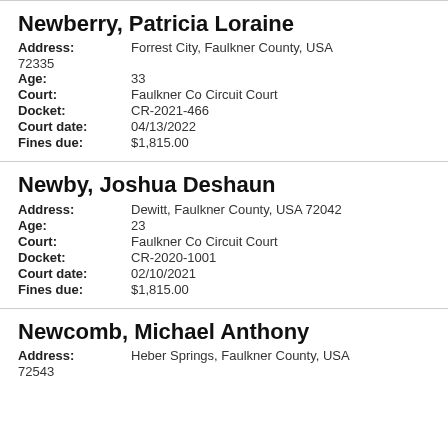Newberry, Patricia Loraine
Address: Forrest City, Faulkner County, USA 72335
Age: 33
Court: Faulkner Co Circuit Court
Docket: CR-2021-466
Court date: 04/13/2022
Fines due: $1,815.00
Newby, Joshua Deshaun
Address: Dewitt, Faulkner County, USA 72042
Age: 23
Court: Faulkner Co Circuit Court
Docket: CR-2020-1001
Court date: 02/10/2021
Fines due: $1,815.00
Newcomb, Michael Anthony
Address: Heber Springs, Faulkner County, USA 72543